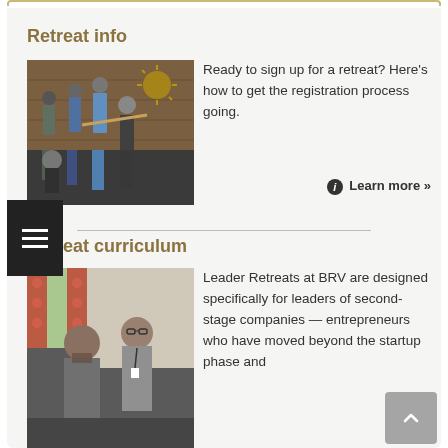Retreat info
[Figure (photo): Group of adults engaged in a hands-on activity indoors, passing or examining a stick or rod]
Ready to sign up for a retreat? Here’s how to get the registration process going.
ⓘ Learn more »
Retreat curriculum
[Figure (photo): Two men in conversation indoors near a window with patterned curtains]
Leader Retreats at BRV are designed specifically for leaders of second-stage companies — entrepreneurs who have moved beyond the startup phase and